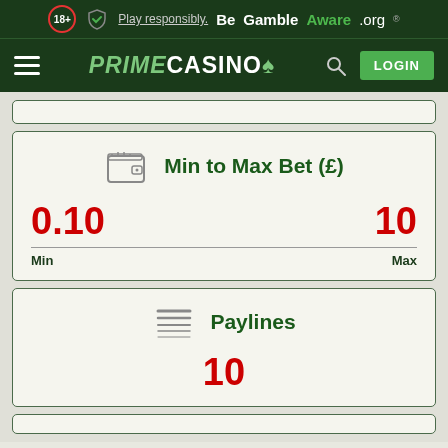18+ Play responsibly. BeGambleAware.org
[Figure (screenshot): Prime Casino navigation bar with hamburger menu, logo, search icon, and LOGIN button]
[Figure (infographic): Min to Max Bet (£) card showing 0.10 min and 10 max]
[Figure (infographic): Paylines card showing value of 10]